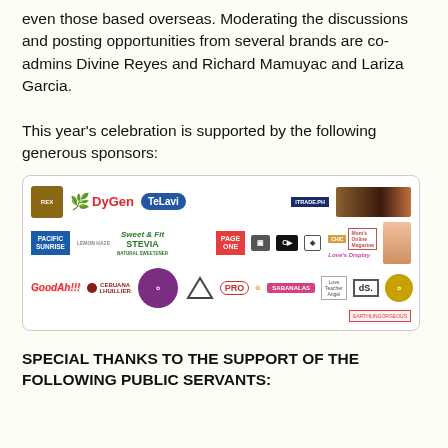even those based overseas. Moderating the discussions and posting opportunities from several brands are co-admins Divine Reyes and Richard Mamuyac and Lariza Garcia.
This year’s celebration is supported by the following generous sponsors:
[Figure (infographic): Sponsor logos collage including: REX, DyGen, TeLavi, Pacific Sunrise, Lemon Haze, Sweet & Fit Stevia, Page One, GPS, GoodAh!!!, Cebuana Lhuillier, iTrade.PH, Mom's Online Magazine, SABANALAS, Love Teacher Angel, dS., EarthlingGorgeous, PRO, and various other brand logos]
SPECIAL THANKS TO THE SUPPORT OF THE FOLLOWING PUBLIC SERVANTS: